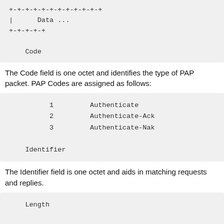[Figure (other): Monospace diagram showing a data field box with '+-+-+-+-+-+-+-+-+-+' top border, '|   Data ...' content line, '+-+-+-+-+' bottom border, and label 'Code']
The Code field is one octet and identifies the type of PAP packet. PAP Codes are assigned as follows:
[Figure (other): Monospace code block listing PAP codes: 1 Authenticate, 2 Authenticate-Ack, 3 Authenticate-Nak, followed by label 'Identifier']
The Identifier field is one octet and aids in matching requests and replies.
[Figure (other): Monospace code block with label 'Length']